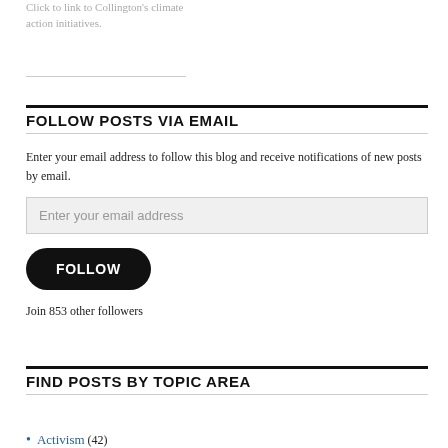Click to link to Collington's climate action initiatives.
FOLLOW POSTS VIA EMAIL
Enter your email address to follow this blog and receive notifications of new posts by email.
Enter your email address
FOLLOW
Join 853 other followers
FIND POSTS BY TOPIC AREA
Activism (42)